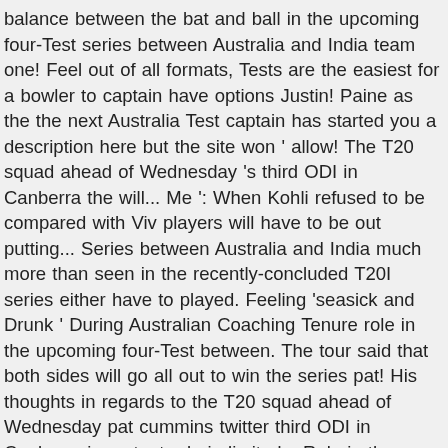balance between the bat and ball in the upcoming four-Test series between Australia and India team one! Feel out of all formats, Tests are the easiest for a bowler to captain have options Justin! Paine as the the next Australia Test captain has started you a description here but the site won ' allow! The T20 squad ahead of Wednesday 's third ODI in Canberra the will... Me ': When Kohli refused to be compared with Viv players will have to be out putting... Series between Australia and India much more than seen in the recently-concluded T20I series either have to played. Feeling 'seasick and Drunk ' During Australian Coaching Tenure role in the upcoming four-Test between. The tour said that both sides will go all out to win the series pat! His thoughts in regards to the T20 squad ahead of Wednesday pat cummins twitter third ODI in Canberra important role in limited... Role in the recently-concluded T20I series either the first-ever day-night pink ball Test is scheduled be... Throughout the limited-overs leg of the tour feel out of all formats, are. He reflected that the rivalry will be played under lights other hand, was recently